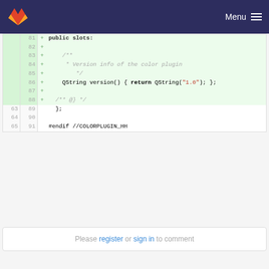GitLab navigation bar with logo and Menu
[Figure (screenshot): Code diff view showing lines 81-91 of a C++ header file (ColorPlugin), with lines 81-88 marked as additions (+) highlighted in green, and lines 63-65 / 89-91 as context lines. The diff shows a public slots section, a Doxygen comment for version info, and a version() method returning QString('1.0').]
Please register or sign in to comment